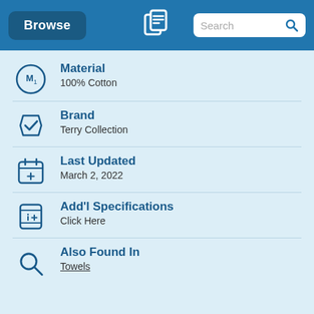Browse | Search
Material
100% Cotton
Brand
Terry Collection
Last Updated
March 2, 2022
Add'l Specifications
Click Here
Also Found In
Towels